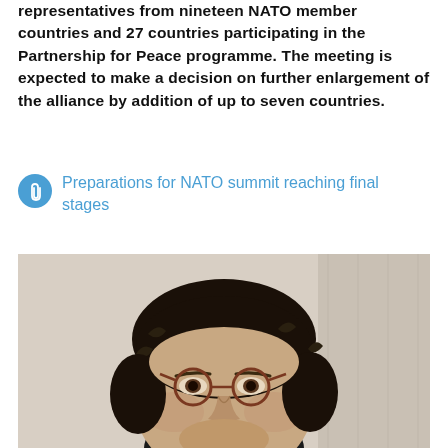representatives from nineteen NATO member countries and 27 countries participating in the Partnership for Peace programme. The meeting is expected to make a decision on further enlargement of the alliance by addition of up to seven countries.
Preparations for NATO summit reaching final stages
[Figure (photo): Close-up portrait of a man with dark curly hair, wearing round tortoiseshell glasses, looking slightly to the side. The background is light/cream colored.]